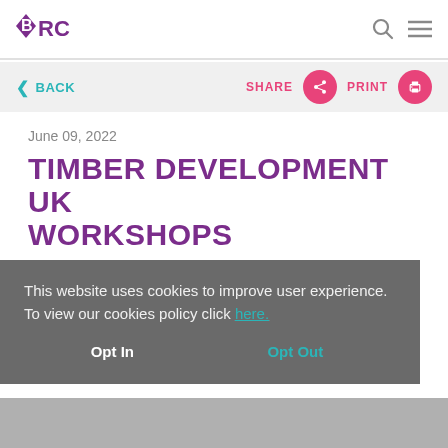BRC logo, search icon, menu icon
< BACK   SHARE   PRINT
June 09, 2022
TIMBER DEVELOPMENT UK WORKSHOPS
This website uses cookies to improve user experience. To view our cookies policy click here.
Opt In   Opt Out